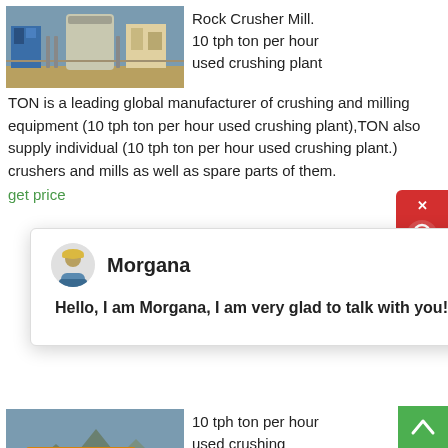[Figure (photo): Industrial crushing plant with blue and grey metal structures, large containers and machinery outdoors.]
Rock Crusher Mill. 10 tph ton per hour used crushing plant
TON is a leading global manufacturer of crushing and milling equipment (10 tph ton per hour used crushing plant),TON also supply individual (10 tph ton per hour used crushing plant.) crushers and mills as well as spare parts of them.
get price
Morgana
Hello, I am Morgana, I am very glad to talk with you!
[Figure (photo): Orange industrial mobile crushing machine with yellow conveyor belts and operator cab, mountains in background.]
10 tph ton per hour used crushing bhcph.co.za. used stone crushing machine for sale.
what is price of a 10 tph small diesel stone crusher 270 tons per hour impact rock crusher for sale rock equipment 30 tons hour 100 ton capacity jaw crusher our gold stryker gs 4000 is a flail impact rock 10 100t per hour stone production line 10 100t per